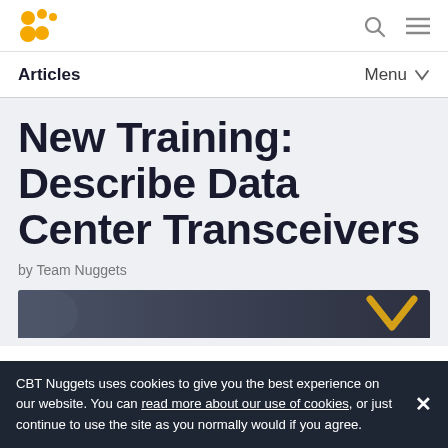CBT Nuggets logo, search and menu icons
Articles | Menu
New Training: Describe Data Center Transceivers
by Team Nuggets
[Figure (screenshot): Article header image strip with dark background and a yellow chevron/download icon on the right side]
CBT Nuggets uses cookies to give you the best experience on our website. You can read more about our use of cookies, or just continue to use the site as you normally would if you agree.